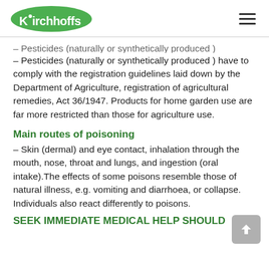Kirchhoffs
– Pesticides (naturally or synthetically produced ) have to comply with the registration guidelines laid down by the Department of Agriculture, registration of agricultural remedies, Act 36/1947. Products for home garden use are far more restricted than those for agriculture use.
Main routes of poisoning
– Skin (dermal) and eye contact, inhalation through the mouth, nose, throat and lungs, and ingestion (oral intake).The effects of some poisons resemble those of natural illness, e.g. vomiting and diarrhoea, or collapse. Individuals also react differently to poisons.
SEEK IMMEDIATE MEDICAL HELP SHOULD